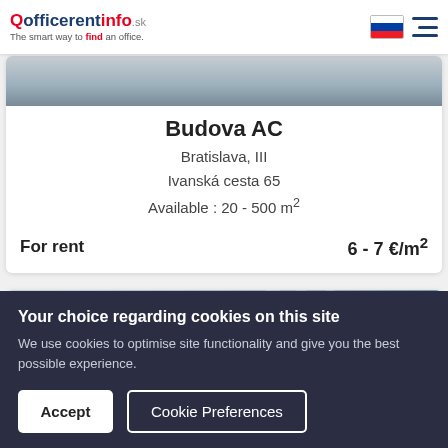officerentinfo.sk — The smart way to find an office.
Budova AC
Bratislava, III
Ivanská cesta 65
Available : 20 - 500 m²
For rent    6 - 7 €/m²
[Figure (photo): Building exterior photo]
[Figure (photo): Second listing building exterior with icons for compare, favourite, and history]
Your choice regarding cookies on this site
We use cookies to optimise site functionality and give you the best possible experience.
Accept   Cookie Preferences